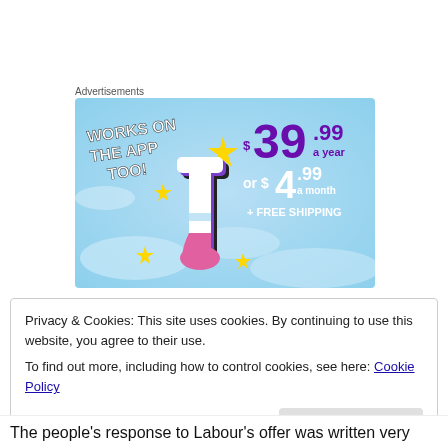Advertisements
[Figure (illustration): Tumblr ad banner on a light blue sky background. Left side: white bold text 'WORKS ON THE APP TOO!' at an angle. Center: Tumblr 't' logo in white/pink/purple with sparkle stars in gold. Right side: pricing in purple '$39.99 a year' and white 'or $4.99 a month + FREE SHIPPING'.]
Privacy & Cookies: This site uses cookies. By continuing to use this website, you agree to their use.
To find out more, including how to control cookies, see here: Cookie Policy
The people's response to Labour's offer was written very